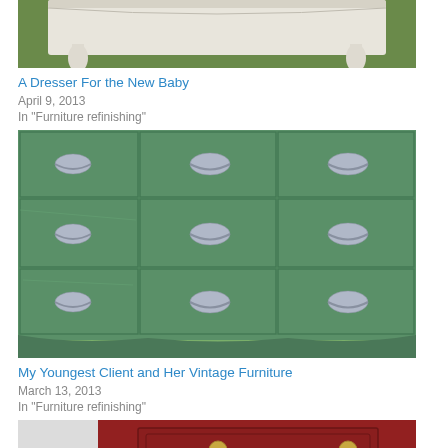[Figure (photo): White painted dresser or bench with ornate legs, photographed outdoors on grass]
A Dresser For the New Baby
April 9, 2013
In "Furniture refinishing"
[Figure (photo): Green painted vintage French Provincial dresser with ornate silver drawer pulls, photographed outdoors on grass]
My Youngest Client and Her Vintage Furniture
March 13, 2013
In "Furniture refinishing"
[Figure (photo): Red painted dresser with gold hardware drawer pull, partially visible at bottom of page]